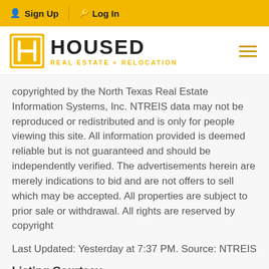Sign Up  Log In
[Figure (logo): Housed Real Estate + Relocation logo with gold H icon and hamburger menu]
copyrighted by the North Texas Real Estate Information Systems, Inc. NTREIS data may not be reproduced or redistributed and is only for people viewing this site. All information provided is deemed reliable but is not guaranteed and should be independently verified. The advertisements herein are merely indications to bid and are not offers to sell which may be accepted. All properties are subject to prior sale or withdrawal. All rights are reserved by copyright
Last Updated: Yesterday at 7:37 PM. Source: NTREIS
Listing Courtesy